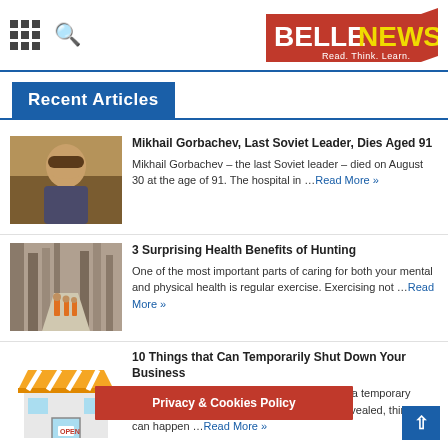BELLENEWS — Read. Think. Learn.
Recent Articles
[Figure (photo): Portrait of an elderly man, Mikhail Gorbachev]
Mikhail Gorbachev, Last Soviet Leader, Dies Aged 91
Mikhail Gorbachev – the last Soviet leader – died on August 30 at the age of 91. The hospital in …Read More »
[Figure (photo): Hunters walking through a winter forest trail]
3 Surprising Health Benefits of Hunting
One of the most important parts of caring for both your mental and physical health is regular exercise. Exercising not …Read More »
[Figure (illustration): Illustration of a shop storefront with open sign]
10 Things that Can Temporarily Shut Down Your Business
Most businesses don't start planning to have a temporary shutdown, but as the global pandemic has revealed, things can happen …Read More »
Privacy & Cookies Policy